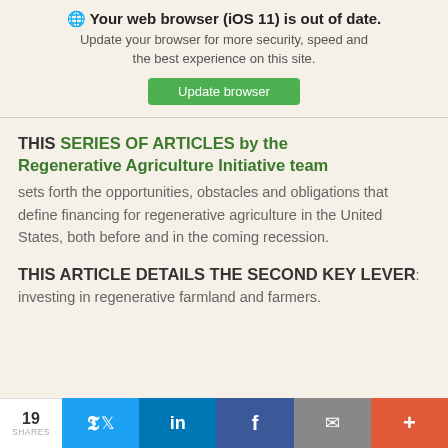🌐 Your web browser (iOS 11) is out of date. Update your browser for more security, speed and the best experience on this site. [Update browser]
THIS SERIES OF ARTICLES by the Regenerative Agriculture Initiative team sets forth the opportunities, obstacles and obligations that define financing for regenerative agriculture in the United States, both before and in the coming recession.
THIS ARTICLE DETAILS THE SECOND KEY LEVER: investing in regenerative farmland and farmers.
19 SHARES  [Twitter] [LinkedIn] [Facebook] [Email] [+]